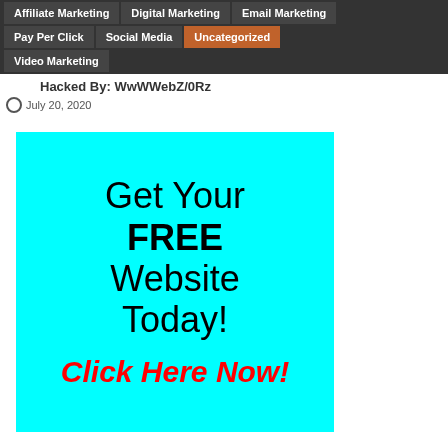Affiliate Marketing | Digital Marketing | Email Marketing | Pay Per Click | Social Media | Uncategorized | Video Marketing
Hacked By: WwWWebZ/0Rz
July 20, 2020
[Figure (infographic): Cyan advertisement banner reading: Get Your FREE Website Today! Click Here Now!]